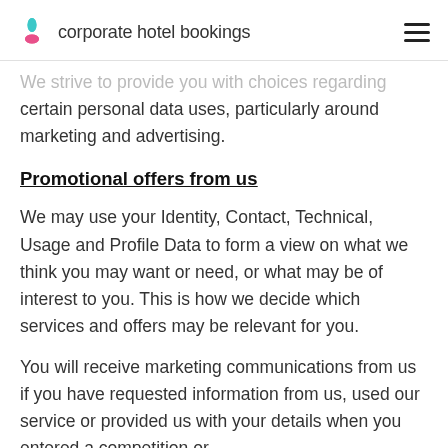corporate hotel bookings
We strive to provide you with choices regarding certain personal data uses, particularly around marketing and advertising.
Promotional offers from us
We may use your Identity, Contact, Technical, Usage and Profile Data to form a view on what we think you may want or need, or what may be of interest to you. This is how we decide which services and offers may be relevant for you.
You will receive marketing communications from us if you have requested information from us, used our service or provided us with your details when you entered a competition or